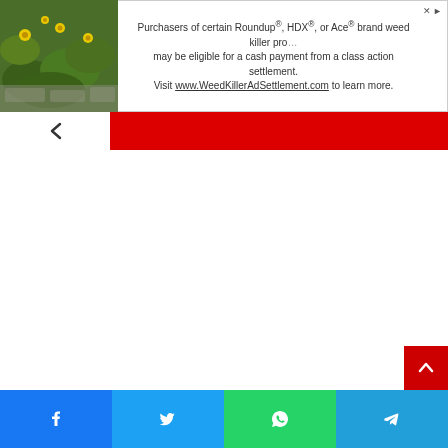[Figure (photo): Green plant with yellow flowers against a stone background — advertisement image for weed killer settlement]
Purchasers of certain Roundup®, HDX®, or Ace® brand weed killer products may be eligible for a cash payment from a class action settlement. Visit www.WeedKillerAdSettlement.com to learn more.
Spanish La Liga
| # | TEAM | P |
| --- | --- | --- |
| 1 | Real Madrid |  |